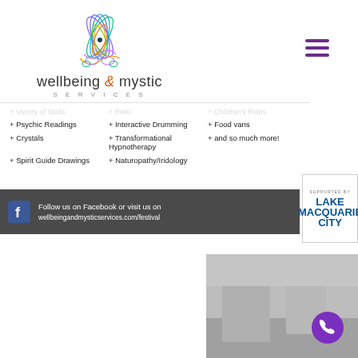[Figure (logo): Wellbeing & Mystic Services logo with lotus flower in rainbow colors and decorative swirls]
Variety of Stalls
Reiki
Children's Rides
Psychic Readings
Interactive Drumming
Food vans
Crystals
Transformational Hypnotherapy
and so much more!
Spirit Guide Drawings
Naturopathy/Iridology
Follow us on Facebook or visit us on wellbeingandmysticservices.com/festival
[Figure (logo): Supported by Lake Macquarie City badge]
[Figure (photo): Partial photo of an outdoor event scene at the bottom right of the page]